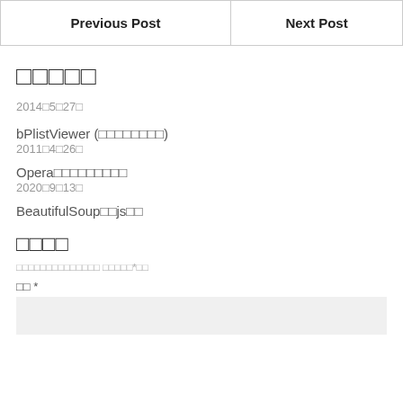| Previous Post | Next Post |
| --- | --- |
□□□□□
2014□5□27□
bPlistViewer (□□□□□□□□)
2011□4□26□
Opera□□□□□□□□□
2020□9□13□
BeautifulSoup□□js□□
□□□□
□□□□□□□□□□□□□□ □□□□□*□□
□□ *